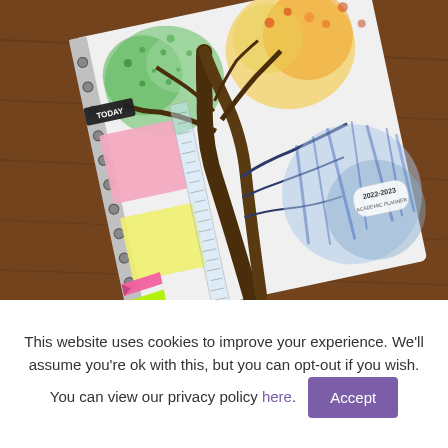[Figure (photo): A 2022-2023 academic planner/agenda with a colorful four-seasons watercolor tree on the cover, placed on a wooden surface. The planner has a spiral binding and includes sticky notes (pink square, yellow square) and colorful arrow-shaped page flags/tabs (pink, yellow-green, blue, yellow) attached to the left side. A black 'TODAY' bookmark/tab is visible at the top.]
This website uses cookies to improve your experience. We'll assume you're ok with this, but you can opt-out if you wish. You can view our privacy policy here. Accept